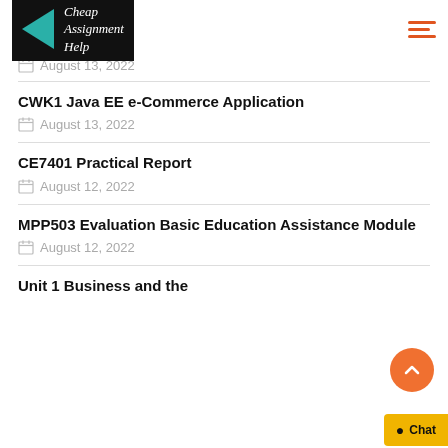[Figure (logo): Cheap Assignment Help logo with teal triangle and dark background]
August 13, 2022
CWK1 Java EE e-Commerce Application
August 13, 2022
CE7401 Practical Report
August 12, 2022
MPP503 Evaluation Basic Education Assistance Module
August 12, 2022
Unit 1 Business and the